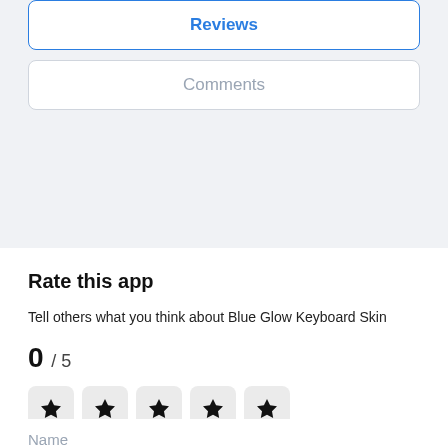Reviews
Comments
Rate this app
Tell others what you think about Blue Glow Keyboard Skin
0 / 5
[Figure (other): Five star rating boxes with black star icons, all unselected]
Name